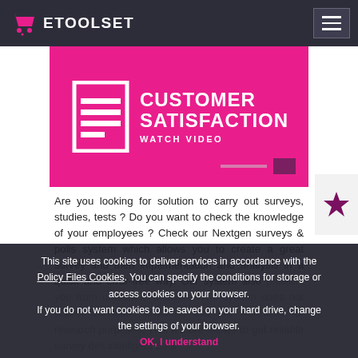ETOOLSET
[Figure (screenshot): Customer Satisfaction Watch Video banner — pink/magenta background with a document icon and bold white text reading CUSTOMER SATISFACTION / WATCH VIDEO]
Are you looking for solution to carry out surveys, studies, tests ? Do you want to check the knowledge of your employees ? Check our Nextgen surveys & polls system which allows you to create a great survey and then implementation and analysis in a quick and error-free way. Our system also protects you from unreliable answers. The system does not collect unreliable answers, that are worthless for research purposes. This feature allows to get reliable survey results and provides intelligent data
This site uses cookies to deliver services in accordance with the Policy Files Cookies. You can specify the conditions for storage or access cookies on your browser. If you do not want cookies to be saved on your hard drive, change the settings of your browser. OK, I understand